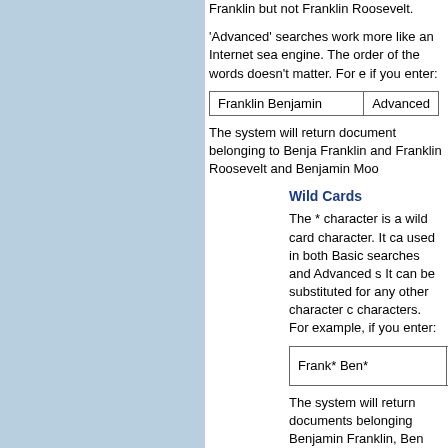Franklin but not Franklin Roosevelt.
'Advanced' searches work more like an Internet search engine. The order of the words doesn't matter. For e if you enter:
| Franklin Benjamin | Advanced |
| --- | --- |
The system will return document belonging to Benjamin Franklin and Franklin Roosevelt and Benjamin Moor
Wild Cards
The * character is a wild card character. It ca used in both Basic searches and Advanced s It can be substituted for any other character characters. For example, if you enter:
| Frank* Ben* | Basic Sea |
| --- | --- |
The system will return documents belonging Benjamin Franklin, Ben Frank, and Bennie Frankenstein. This can be useful if you are u about spelling.
Advanced Search Operators
Performing Advanced searches will return do containing any of the words you entered. By certain modifiers, or operators, you can focus